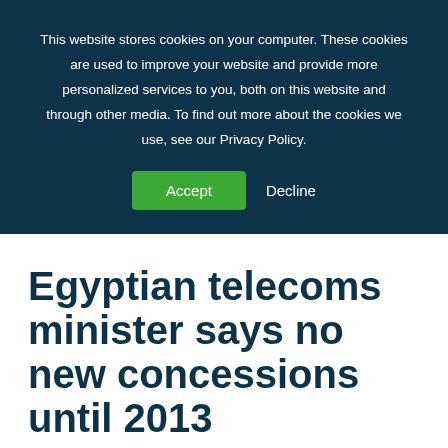This website stores cookies on your computer. These cookies are used to improve your website and provide more personalized services to you, both on this website and through other media. To find out more about the cookies we use, see our Privacy Policy.
Accept
Decline
Egyptian telecoms minister says no new concessions until 2013